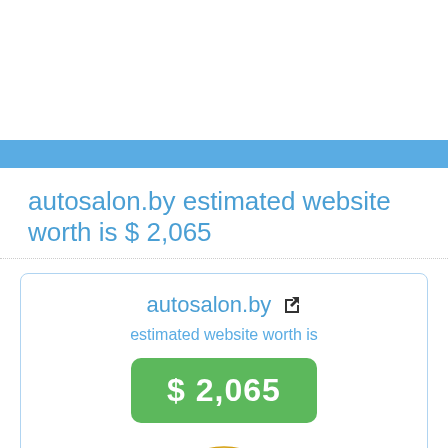autosalon.by estimated website worth is $ 2,065
autosalon.by
estimated website worth is
$ 2,065